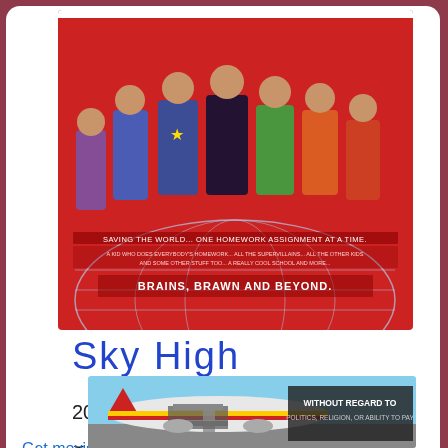[Figure (photo): Movie poster for Sky High (2005). Shows a group of teenage superheroes against a red background with a globe. Text reads 'SAVING THE WORLD... ONE HOMEWORK ASSIGNMENT AT A TIME.' and 'BRAINS, BRAWN AND BEYOND.']
Sky High
2005 🙂 Adventure Comedy Family Sci-Fi
Get movie Sky High
[Figure (photo): Advertisement image showing an airplane being loaded with cargo. Text reads 'WITHOUT REGARD TO POLITICS, RELIGION, OR ABILITY TO PAY']